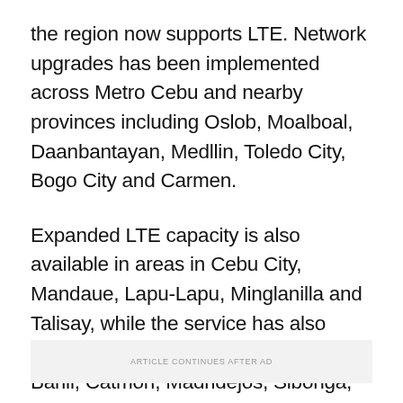the region now supports LTE. Network upgrades has been implemented across Metro Cebu and nearby provinces including Oslob, Moalboal, Daanbantayan, Medllin, Toledo City, Bogo City and Carmen.
Expanded LTE capacity is also available in areas in Cebu City, Mandaue, Lapu-Lapu, Minglanilla and Talisay, while the service has also been rolled out in Badian, Balamban, Barili, Catmon, Madridejos, Sibonga, and Tabuelan.
ARTICLE CONTINUES AFTER AD